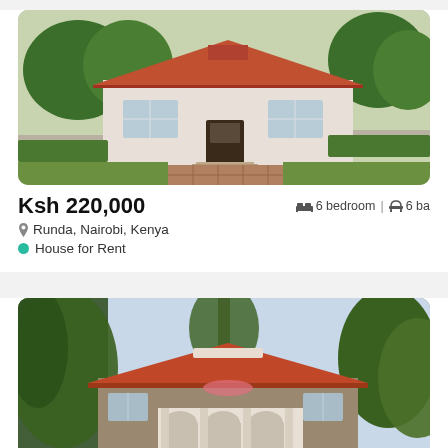[Figure (photo): Exterior photo of a single-storey house with red tile roof, white walls, brick driveway, surrounded by green hedges and trees in Runda, Nairobi]
Ksh 220,000
6 bedroom | 6 ba
Runda, Nairobi, Kenya
House for Rent
[Figure (photo): Exterior photo of a large house with arched portico, red tile roof, stone facade, surrounded by tall trees and lush green lawn in Runda, Nairobi]
Ksh 300,000
4 bedroom | 4 ba
Runda, Nairobi, Kenya